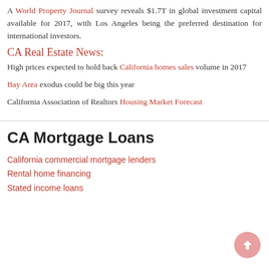A World Property Journal survey reveals $1.7T in global investment capital available for 2017, with Los Angeles being the preferred destination for international investors.
CA Real Estate News:
High prices expected to hold back California homes sales volume in 2017
Bay Area exodus could be big this year
California Association of Realtors Housing Market Forecast
CA Mortgage Loans
California commercial mortgage lenders
Rental home financing
Stated income loans